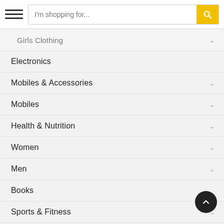[Figure (screenshot): Navigation header with hamburger menu icon and search bar with yellow search button]
Girls Clothing
Electronics
Mobiles & Accessories
Mobiles
Health & Nutrition
Women
Men
Books
Sports & Fitness
Health & Personal Care
Home & Kitchen
Grocery